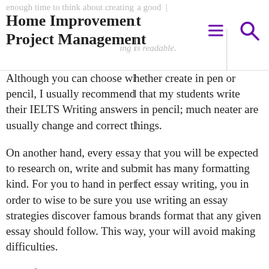enough time to think about creating a good | Home Improvement Project Management
Although you can choose whether create in pen or pencil, I usually recommend that my students write their IELTS Writing answers in pencil; much neater are usually change and correct things.
On another hand, every essay that you will be expected to research on, write and submit has many formatting kind. For you to hand in perfect essay writing, you in order to wise to be sure you use writing an essay strategies discover famous brands format that any given essay should follow. This way, your will avoid making difficulties.
Look for originality your written component. It